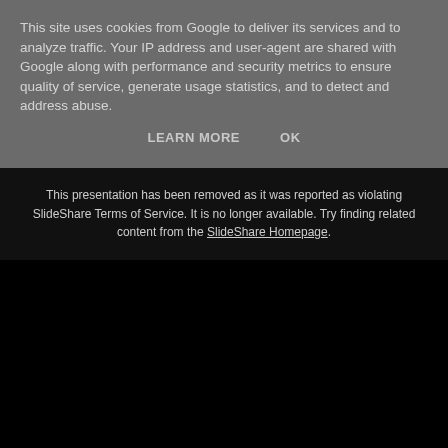This site uses cookies from Google to deliver its services and to analyze traffic. Your IP address and user-agent are shared with Google along with performance and security metrics to ensure quality of service, generate usage statistics, and to detect and address abuse.
LEARN MORE    OK
This presentation has been removed as it was reported as violating SlideShare Terms of Service. It is no longer available. Try finding related content from the SlideShare Homepage.